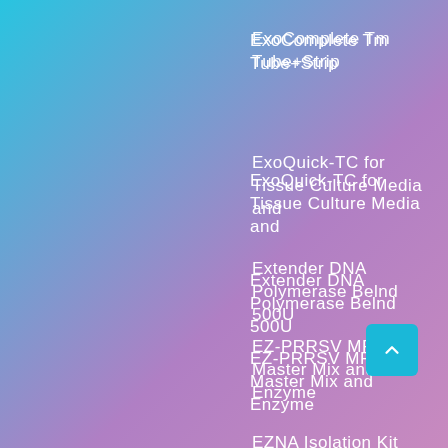ExoComplete Tm Tube+Strip
ExoQuick-TC for Tissue Culture Media and
Extender DNA Polymerase Belnd 500U
EZ-PRRSV MPX 4.0 Master Mix and Enzyme
EZNA Isolation Kit SQ Blood DNA
FA-PEG-Mal, 3.4K